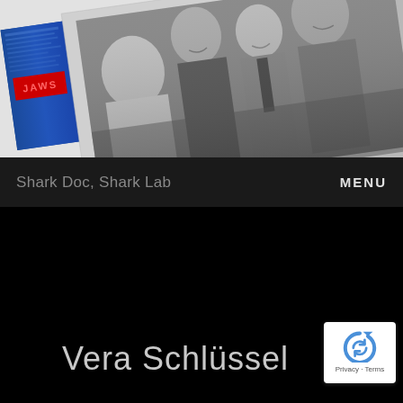[Figure (photo): Black and white photograph inside an open book showing several people smiling and interacting, with a Jaws book cover visible on the left side. The book/photo is positioned at a slight angle on a gray background.]
Shark Doc, Shark Lab
MENU
Vera Schlüssel